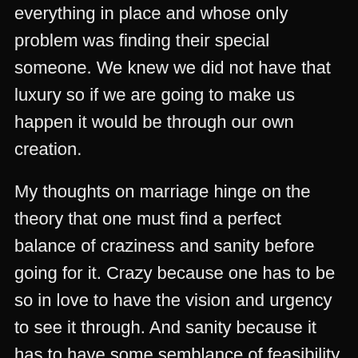everything in place and whose only problem was finding their special someone. We knew we did not have that luxury so if we are going to make us happen it would be through our own creation.
My thoughts on marriage hinge on the theory that one must find a perfect balance of craziness and sanity before going for it. Crazy because one has to be so in love to have the vision and urgency to see it through. And sanity because it has to have some semblance of feasibility in order to make it happen. I know that when we started, we were not in the most ideal of places but I have so much faith in us and I have so much love for her that I got her a ring before leaving the Philippines for the US. I